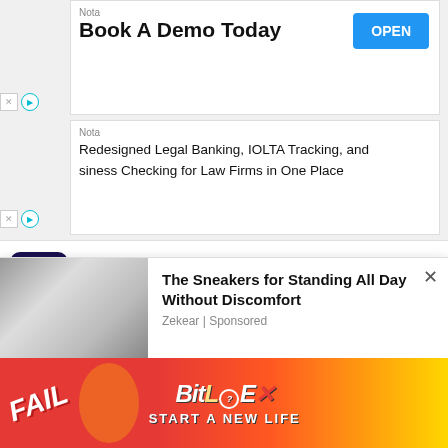[Figure (screenshot): Advertisement banner: 'Nota / Book A Demo Today' with blue OPEN button]
[Figure (screenshot): Advertisement banner: 'Nota / Redesigned Legal Banking, IOLTA Tracking, and Business Checking for Law Firms in One Place']
[Figure (screenshot): How.com widget showing title 'Why Do Girls Sit On The Dryer' with tags: Query, queries, why, girls, dryer]
[Figure (screenshot): Large blue text reading 'Quiet Electronic Drums' with watermark text in background]
[Figure (screenshot): Sneaker advertisement: 'The Sneakers for Standing All Day Without Discomfort' by Zekear | Sponsored]
Yo...
[Figure (screenshot): BitLife game advertisement banner with 'FAIL' text, cartoon character, flames, and 'START A NEW LIFE' text]